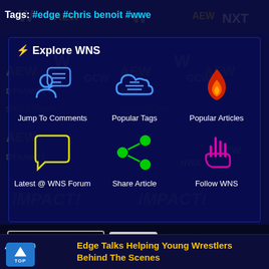Tags: #edge #chris benoit #wwe
⚡ Explore WNS
[Figure (infographic): Explore WNS navigation panel with 6 icons: Jump To Comments (blue chat/person icon), Popular Tags (blue cloud icon), Popular Articles (red flame icon), Latest @ WNS Forum (yellow speech bubble), Share Article (green share icon), Follow WNS (pink/magenta pointing hand icon)]
https://wrestlr.me/54556/
Adding comments is disabled due to age of article.
Aug, 19
Edge Talks Helping Young Wrestlers Behind The Scenes